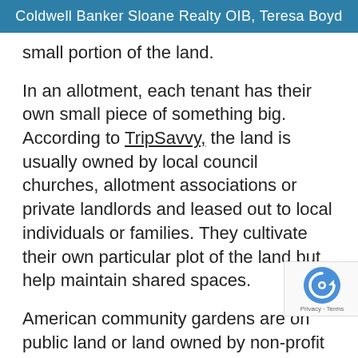Coldwell Banker Sloane Realty OIB, Teresa Boyd
small portion of the land.
In an allotment, each tenant has their own small piece of something big. According to TripSavvy, the land is usually owned by local council churches, allotment associations or private landlords and leased out to local individuals or families. They cultivate their own particular plot of the land but help maintain shared spaces.
American community gardens are on public land or land owned by non-profit entities. The labor is largely volunteer-based with varying levels of organization depending on the specific garden.